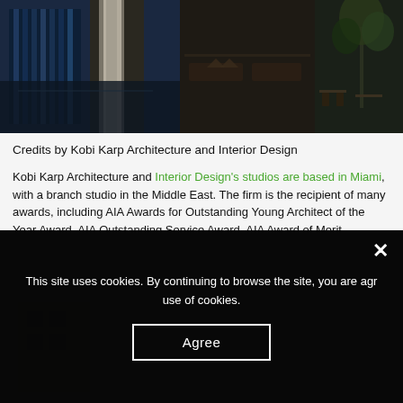[Figure (photo): Interior design photo collage showing hotel lobby with blue glass walls, dark marble floors, and restaurant seating area with palm trees]
Credits by Kobi Karp Architecture and Interior Design
Kobi Karp Architecture and Interior Design's studios are based in Miami, with a branch studio in the Middle East. The firm is the recipient of many awards, including AIA Awards for Outstanding Young Architect of the Year Award, AIA Outstanding Service Award, AIA Award of Merit, American Resort Development Association (ARDA) Gold Award for Hotel Conversion, The Network of the Hospitality (NEWH) Excellence in Design Award, Miami Design Preservation League Merit Awards, and Dade Heritage Trust Historic Preservation Awards.
This site uses cookies. By continuing to browse the site, you are agreeing to our use of cookies.